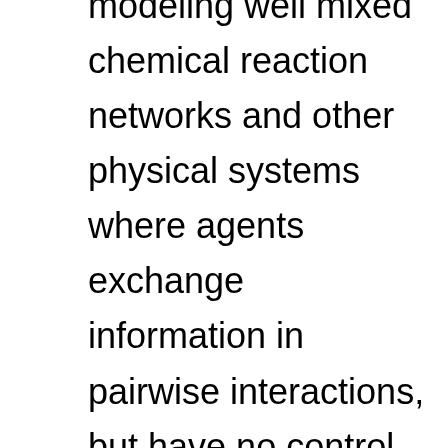modeling well mixed chemical reaction networks and other physical systems where agents exchange information in pairwise interactions, but have no control over their schedule of interaction partners. The well-studied *majority* problem is that of determining in an initial population of n agents, each with one of two opinions A or B, whether